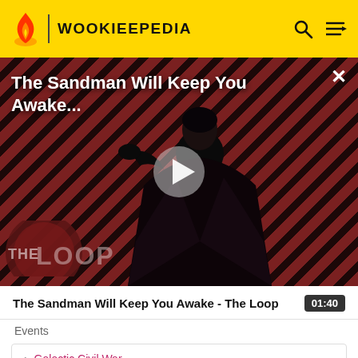WOOKIEEPEDIA
[Figure (screenshot): Video thumbnail showing The Sandman Will Keep You Awake – The Loop. Dark figure in black cape against diagonal red/black stripe background. Play button overlay in center. THE LOOP logo in bottom left. Title text at top. Close (×) button top right.]
The Sandman Will Keep You Awake - The Loop 01:40
Events
Galactic Civil War
Rescue of Princess Leia
Battle of Yavin